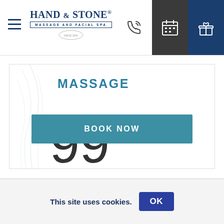Hand & Stone Massage and Facial Spa – navigation bar with hamburger menu, logo, phone icon, calendar icon, gift icon
MASSAGE
$99.95*
BOOK NOW
This site uses cookies. OK